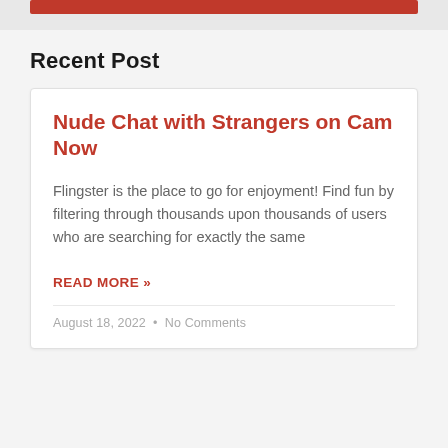[Figure (other): Red banner/bar at the top of the page]
Recent Post
Nude Chat with Strangers on Cam Now
Flingster is the place to go for enjoyment! Find fun by filtering through thousands upon thousands of users who are searching for exactly the same
READ MORE »
August 18, 2022  •  No Comments